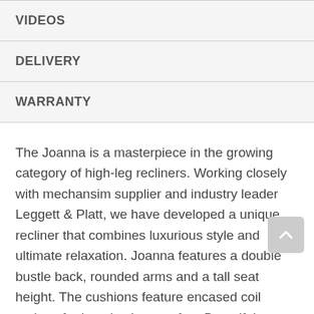VIDEOS
DELIVERY
WARRANTY
The Joanna is a masterpiece in the growing category of high-leg recliners. Working closely with mechansim supplier and industry leader Leggett & Platt, we have developed a unique recliner that combines luxurious style and ultimate relaxation. Joanna features a double bustle back, rounded arms and a tall seat height. The cushions feature encased coil springs for long lasting comfort. Beautiful cording accents are also present throughout the chair. Joanna is available in all covers so you can find the perfect fit for your home. Also available with Power touch buttons that allows you to recline to seemingly infinite positions and always select your favorite with...